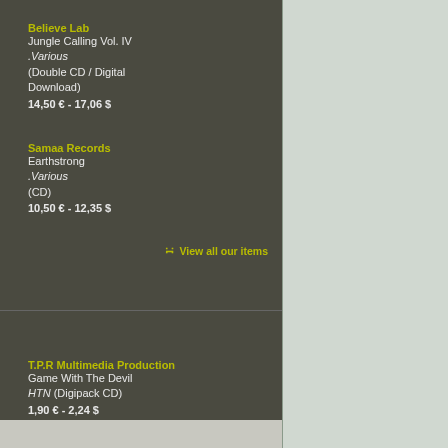Believe Lab
Jungle Calling Vol. IV
.Various
(Double CD / Digital Download)
14,50 € - 17,06 $
Samaa Records
Earthstrong
.Various
(CD)
10,50 € - 12,35 $
View all our items
T.P.R Multimedia Production
Game With The Devil
HTN (Digipack CD)
1,90 € - 2,24 $
View all our offers